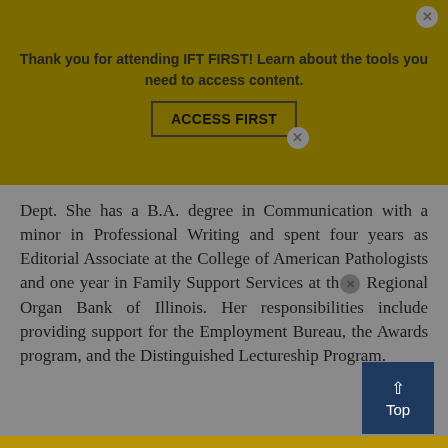[Figure (screenshot): Website banner overlay with dark olive/yellow background saying 'Thank you for attending IFT FIRST! Learn about the tools you need to access content.' with an ACCESS FIRST button and close (X) icons.]
Dept. She has a B.A. degree in Communication with a minor in Professional Writing and spent four years as Editorial Associate at the College of American Pathologists and one year in Family Support Services at the Regional Organ Bank of Illinois. Her responsibilities include providing support for the Employment Bureau, the Awards program, and the Distinguished Lectureship Program.